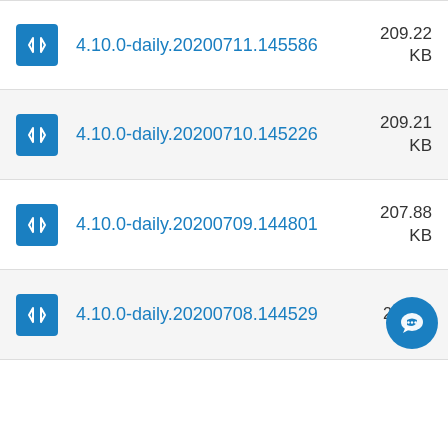4.10.0-daily.20200711.145586  209.22 KB
4.10.0-daily.20200710.145226  209.21 KB
4.10.0-daily.20200709.144801  207.88 KB
4.10.0-daily.20200708.144529  209.69